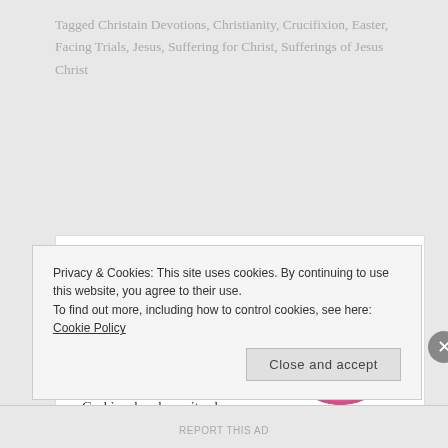Tagged Christain Devotions, Christianity, Crucifixion, Easter, Facing Trials, Jesus, Suffering for Christ, Sufferings of Jesus Christ
Published by cherylz1961
[Figure (photo): Circular portrait photo of a woman in a pink shirt hugging a light-colored dog, with an orange/brown background.]
Cheryl Zelenka is a retired teacher, author, single mom, and brain tumor survivor. Her passion to encourage others with the Word of God is why she writes her Christian Encouragement blog. http://facingtrials.com Her first
Privacy & Cookies: This site uses cookies. By continuing to use this website, you agree to their use.
To find out more, including how to control cookies, see here: Cookie Policy
Close and accept